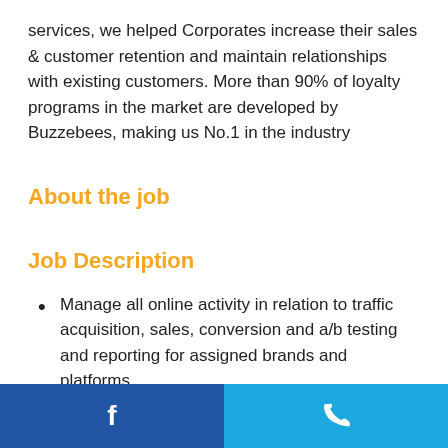services, we helped Corporates increase their sales & customer retention and maintain relationships with existing customers. More than 90% of loyalty programs in the market are developed by Buzzebees, making us No.1 in the industry
About the job
Job Description
Manage all online activity in relation to traffic acquisition, sales, conversion and a/b testing and reporting for assigned brands and platforms.
f  [phone icon]